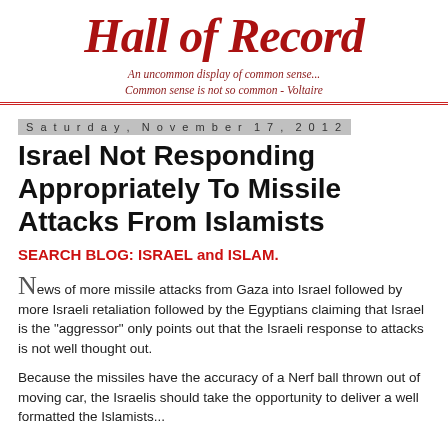Hall of Record
An uncommon display of common sense... Common sense is not so common - Voltaire
Saturday, November 17, 2012
Israel Not Responding Appropriately To Missile Attacks From Islamists
SEARCH BLOG: ISRAEL and ISLAM.
News of more missile attacks from Gaza into Israel followed by more Israeli retaliation followed by the Egyptians claiming that Israel is the "aggressor" only points out that the Israeli response to attacks is not well thought out.
Because the missiles have the accuracy of a Nerf ball thrown out of moving car, the Israelis should take the opportunity to deliver a well formatted the Islamists...